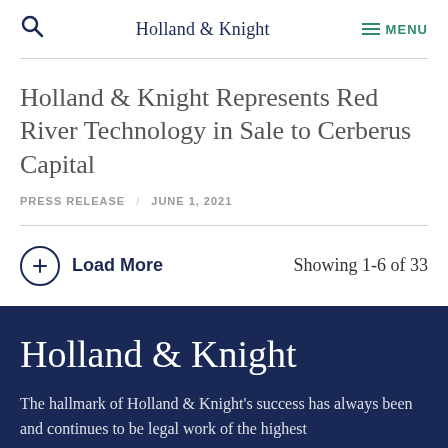Holland & Knight
Holland & Knight Represents Red River Technology in Sale to Cerberus Capital
PRESS RELEASE / JUNE 1, 2021
+ Load More   Showing 1-6 of 33
[Figure (logo): Holland & Knight footer logo on dark navy background]
The hallmark of Holland & Knight's success has always been and continues to be legal work of the highest